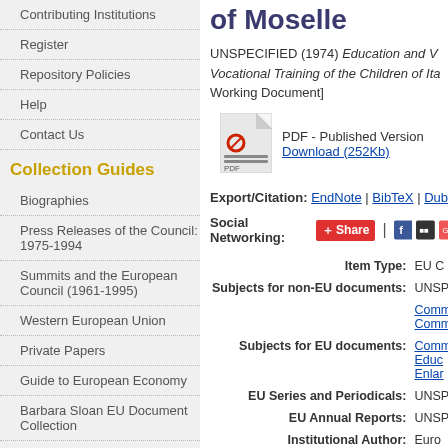Contributing Institutions
Register
Repository Policies
Help
Contact Us
Collection Guides
Biographies
Press Releases of the Council: 1975-1994
Summits and the European Council (1961-1995)
Western European Union
Private Papers
Guide to European Economy
Barbara Sloan EU Document Collection
Search and Browse
of Moselle
UNSPECIFIED (1974) Education and V Vocational Training of the Children of Ita Working Document]
[Figure (other): PDF document icon]
PDF - Published Version
Download (252Kb)
Export/Citation: EndNote | BibTeX | Dubli
Social Networking: Share | [Facebook icon] [Twitter icon]
| Field | Value |
| --- | --- |
| Item Type: | EU C |
| Subjects for non-EU documents: | UNSP |
|  | Comm
Comm |
| Subjects for EU documents: | Comm
Educ
Enlar |
| EU Series and Periodicals: | UNSP |
| EU Annual Reports: | UNSP |
| Institutional Author: | Euro |
| Depositing User: | Phi |